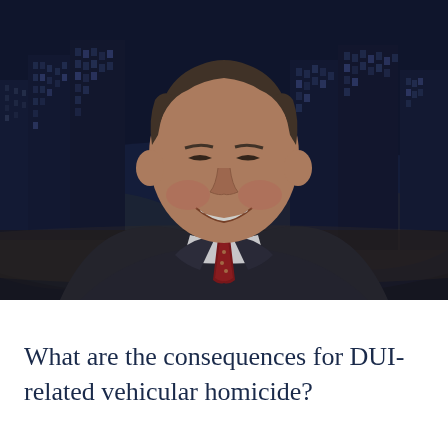[Figure (photo): Professional headshot of a middle-aged man in a dark pinstripe suit, white dress shirt, and red patterned tie, smiling at the camera. Background shows a darkened city skyline at night.]
What are the consequences for DUI-related vehicular homicide?